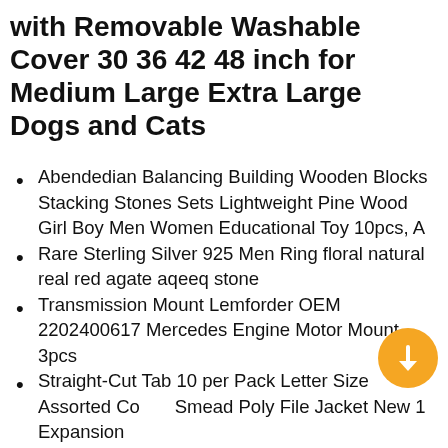with Removable Washable Cover 30 36 42 48 inch for Medium Large Extra Large Dogs and Cats
Abendedian Balancing Building Wooden Blocks Stacking Stones Sets Lightweight Pine Wood Girl Boy Men Women Educational Toy 10pcs, A
Rare Sterling Silver 925 Men Ring floral natural real red agate aqeeq stone
Transmission Mount Lemforder OEM 2202400617 Mercedes Engine Motor Mount 3pcs
Straight-Cut Tab 10 per Pack Letter Size Assorted Colors Smead Poly File Jacket New 1 Expansion
Blue 8ft x 8ft Top Slant Leg with Wheeled Carry Basics Outdoor One-push Pop Up Canopy